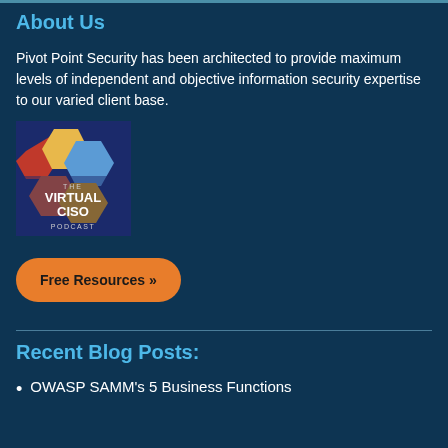About Us
Pivot Point Security has been architected to provide maximum levels of independent and objective information security expertise to our varied client base.
[Figure (logo): The Virtual CISO Podcast logo — colorful geometric hexagon shapes on dark blue background with text 'THE VIRTUAL CISO PODCAST']
Free Resources »
Recent Blog Posts:
OWASP SAMM's 5 Business Functions